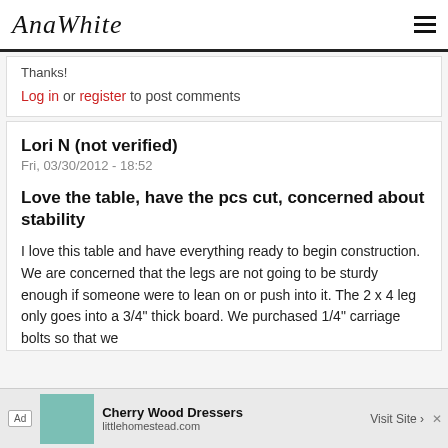AnaWhite
Thanks!
Log in or register to post comments
Lori N (not verified)
Fri, 03/30/2012 - 18:52
Love the table, have the pcs cut, concerned about stability
I love this table and have everything ready to begin construction. We are concerned that the legs are not going to be sturdy enough if someone were to lean on or push into it. The 2 x 4 leg only goes into a 3/4" thick board. We purchased 1/4" carriage bolts so that we ... at oth...